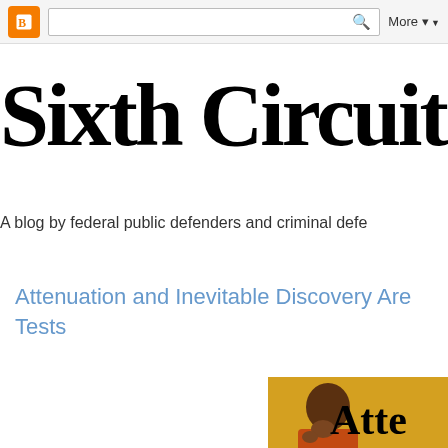Blogger navbar with logo, search bar, and More button
Sixth Circuit B
A blog by federal public defenders and criminal defe
Attenuation and Inevitable Discovery Are Tests
[Figure (photo): Drake meme photo partially visible at bottom right, with text 'Atte' visible]